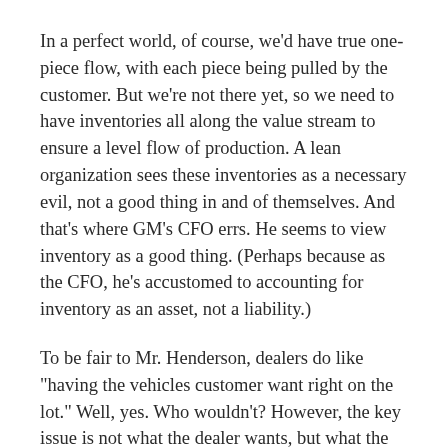In a perfect world, of course, we'd have true one-piece flow, with each piece being pulled by the customer. But we're not there yet, so we need to have inventories all along the value stream to ensure a level flow of production. A lean organization sees these inventories as a necessary evil, not a good thing in and of themselves. And that's where GM's CFO errs. He seems to view inventory as a good thing. (Perhaps because as the CFO, he's accustomed to accounting for inventory as an asset, not a liability.)
To be fair to Mr. Henderson, dealers do like "having the vehicles customer want right on the lot." Well, yes. Who wouldn't? However, the key issue is not what the dealer wants, but what the customer wants.